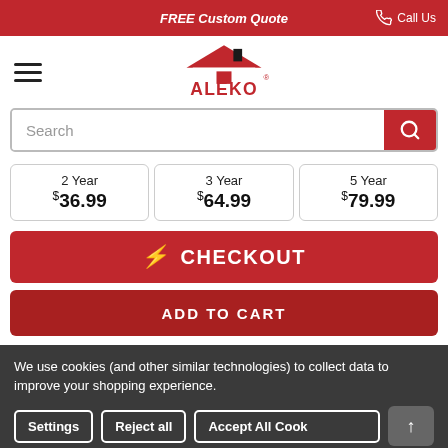FREE Custom Quote   Call Us
[Figure (logo): ALEKO brand logo with house/roof icon in red and black]
Search
2 Year $36.99  3 Year $64.99  5 Year $79.99
⚡ CHECKOUT
ADD TO CART
We use cookies (and other similar technologies) to collect data to improve your shopping experience.
Settings  Reject all  Accept All Cookies